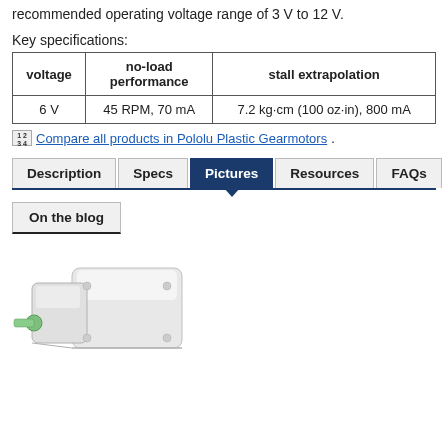recommended operating voltage range of 3 V to 12 V.
Key specifications:
| voltage | no-load performance | stall extrapolation |
| --- | --- | --- |
| 6 V | 45 RPM, 70 mA | 7.2 kg·cm (100 oz·in), 800 mA |
Compare all products in Pololu Plastic Gearmotors.
Description | Specs | Pictures | Resources | FAQs
On the blog
[Figure (photo): White plastic gearmotor with green output shaft, viewed from front-left angle]